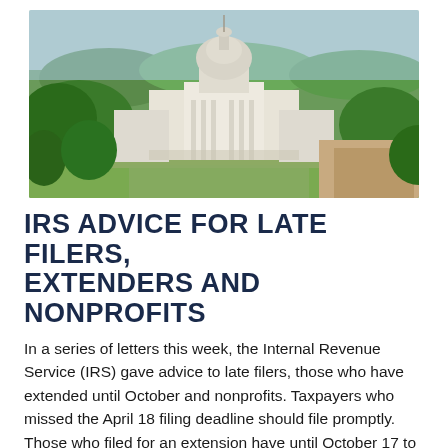[Figure (photo): Aerial view of the US Capitol building in Washington DC, surrounded by green trees and the city skyline.]
IRS ADVICE FOR LATE FILERS, EXTENDERS AND NONPROFITS
In a series of letters this week, the Internal Revenue Service (IRS) gave advice to late filers, those who have extended until October and nonprofits. Taxpayers who missed the April 18 filing deadline should file promptly. Those who filed for an extension have until October 17 to file. The nonprofit filing date is May 16, 2022.
Automatic Filing Extension — There are